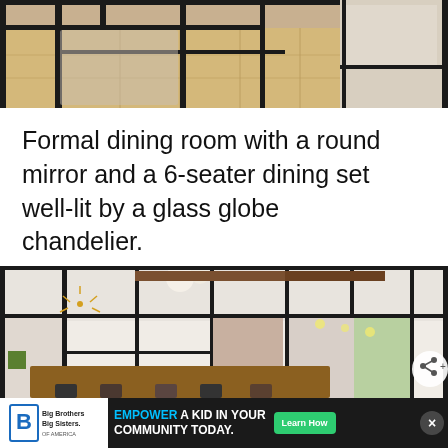[Figure (photo): Top portion of interior room photo showing hardwood floors, black steel frame room dividers/windows visible at top]
Formal dining room with a round mirror and a 6-seater dining set well-lit by a glass globe chandelier.
[Figure (photo): Interior photo of a modern home with black steel frame glass walls/partitions, exposed ceiling beams, dining table in foreground, living area with fireplace visible through glass panels, ceiling fan, pendant lights]
[Figure (infographic): Advertisement banner: Big Brothers Big Sisters of America logo on white background, text EMPOWER A KID IN YOUR COMMUNITY TODAY. with green Learn How button on black background]